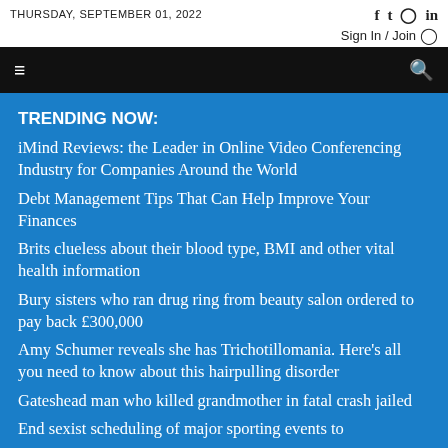THURSDAY, SEPTEMBER 01, 2022
TRENDING NOW:
iMind Reviews: the Leader in Online Video Conferencing Industry for Companies Around the World
Debt Management Tips That Can Help Improve Your Finances
Brits clueless about their blood type, BMI and other vital health information
Bury sisters who ran drug ring from beauty salon ordered to pay back £300,000
Amy Schumer reveals she has Trichotillomania. Here's all you need to know about this hairpulling disorder
Gateshead man who killed grandmother in fatal crash jailed
End sexist scheduling of major sporting events to